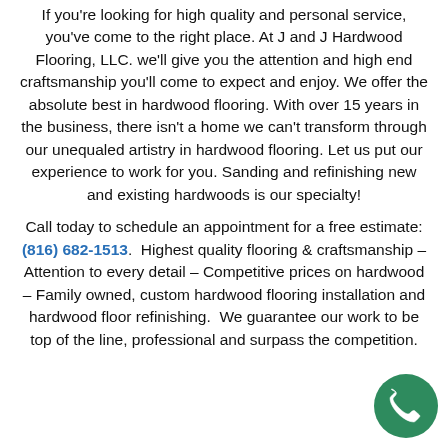If you're looking for high quality and personal service, you've come to the right place. At J and J Hardwood Flooring, LLC. we'll give you the attention and high end craftsmanship you'll come to expect and enjoy. We offer the absolute best in hardwood flooring. With over 15 years in the business, there isn't a home we can't transform through our unequaled artistry in hardwood flooring. Let us put our experience to work for you. Sanding and refinishing new and existing hardwoods is our specialty!
Call today to schedule an appointment for a free estimate: (816) 682-1513.  Highest quality flooring & craftsmanship – Attention to every detail – Competitive prices on hardwood – Family owned, custom hardwood flooring installation and hardwood floor refinishing.  We guarantee our work to be top of the line, professional and surpass the competition.
[Figure (other): Green circular phone call button icon in the bottom-right corner]